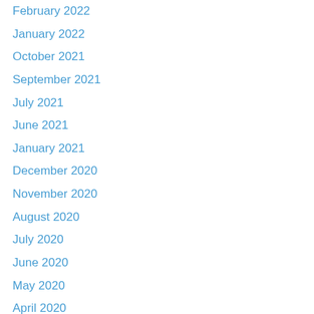February 2022
January 2022
October 2021
September 2021
July 2021
June 2021
January 2021
December 2020
November 2020
August 2020
July 2020
June 2020
May 2020
April 2020
March 2020
February 2020
January 2020
December 2019
November 2019
October 2019